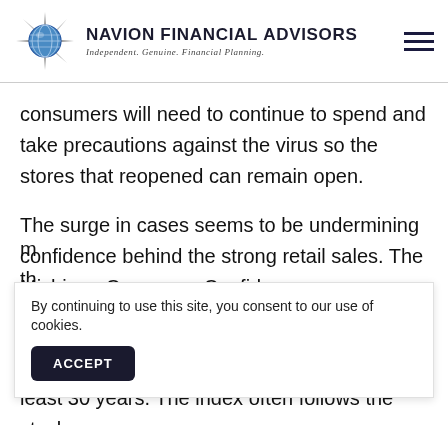NAVION FINANCIAL ADVISORS — Independent. Genuine. Financial Planning.
consumers will need to continue to spend and take precautions against the virus so the stores that reopened can remain open.
The surge in cases seems to be undermining confidence behind the strong retail sales. The Michigan Consumer Confidence survey missed expectations by six points. It was the widest miss in at least 30 years. The index often follows the stock m... th... lo...
By continuing to use this site, you consent to our use of cookies.